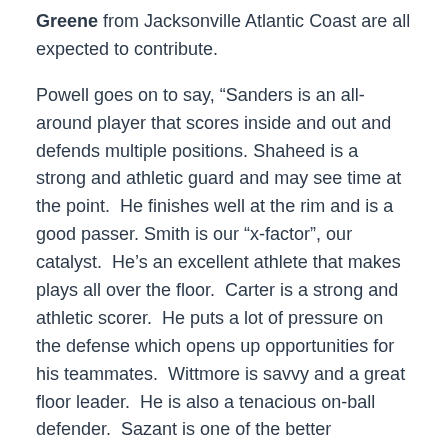Greene from Jacksonville Atlantic Coast are all expected to contribute.
Powell goes on to say, “Sanders is an all-around player that scores inside and out and defends multiple positions. Shaheed is a strong and athletic guard and may see time at the point. He finishes well at the rim and is a good passer. Smith is our “x-factor”, our catalyst. He’s an excellent athlete that makes plays all over the floor. Carter is a strong and athletic scorer. He puts a lot of pressure on the defense which opens up opportunities for his teammates. Wittmore is savvy and a great floor leader. He is also a tenacious on-ball defender. Sazant is one of the better perimeter shooters on the squad. Greene plays with a great deal of energy, is a tenacious defender, and knocks down shots from beyond the arc.”
Game Elite Gold Florida expects to tackle the following